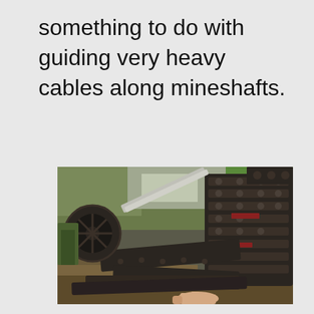something to do with guiding very heavy cables along mineshafts.
[Figure (photo): A photograph of large, heavy industrial chain links and sprocket mechanism lying on the ground outdoors among vegetation. A person's hand is visible at the bottom of the image touching the chain. The machinery appears to be rusty and old, likely used for guiding heavy cables in mineshafts.]